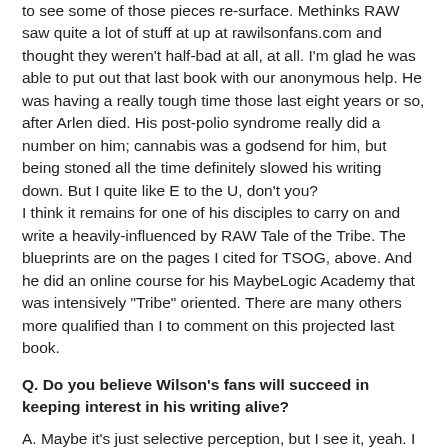to see some of those pieces re-surface. Methinks RAW saw quite a lot of stuff at up at rawilsonfans.com and thought they weren't half-bad at all, at all. I'm glad he was able to put out that last book with our anonymous help. He was having a really tough time those last eight years or so, after Arlen died. His post-polio syndrome really did a number on him; cannabis was a godsend for him, but being stoned all the time definitely slowed his writing down. But I quite like E to the U, don't you?
I think it remains for one of his disciples to carry on and write a heavily-influenced by RAW Tale of the Tribe. The blueprints are on the pages I cited for TSOG, above. And he did an online course for his MaybeLogic Academy that was intensively "Tribe" oriented. There are many others more qualified than I to comment on this projected last book.
Q. Do you believe Wilson's fans will succeed in keeping interest in his writing alive?
A. Maybe it's just selective perception, but I see it, yeah. I think it's building, slowly. I do think Wilson was quasi-tragically ahead of his time. But if it was between dying out